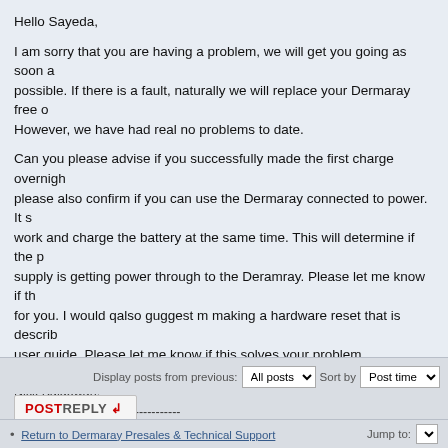Hello Sayeda,
I am sorry that you are having a problem, we will get you going as soon as possible. If there is a fault, naturally we will replace your Dermaray free of charge. However, we have had real no problems to date.
Can you please advise if you successfully made the first charge overnight, please also confirm if you can use the Dermaray connected to power. It should work and charge the battery at the same time. This will determine if the power supply is getting power through to the Deramray. Please let me know if this works for you. I would qalso guggest m making a hardware reset that is described in the user guide. Please let me know if this solves your problem.
Nick Balgowan.
----------------------------------------
http://www.tcgindustrial.com.au
http://www.dermaray.com
http://www.beatpsoriasis.com
----------------------------------------